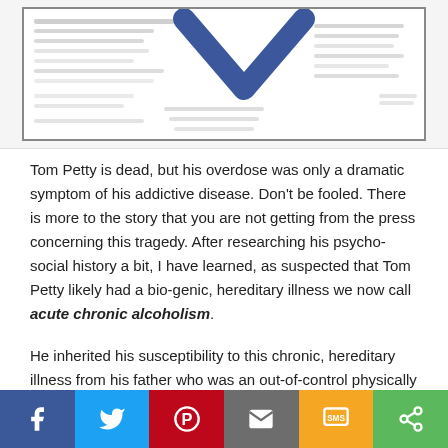[Figure (other): A blurred/small screenshot of a document with a blue checkmark or V-shape graphic visible, surrounded by small text]
Tom Petty is dead, but his overdose was only a dramatic symptom of his addictive disease. Don't be fooled. There is more to the story that you are not getting from the press concerning this tragedy. After researching his psycho-social history a bit, I have learned, as suspected that Tom Petty likely had a bio-genic, hereditary illness we now call acute chronic alcoholism.
He inherited his susceptibility to this chronic, hereditary illness from his father who was an out-of-control physically abusive alcoholic who did not approve of his child's interests
[Figure (infographic): Social sharing bar with Facebook, Twitter, Pinterest, Email, SMS, and Share buttons]